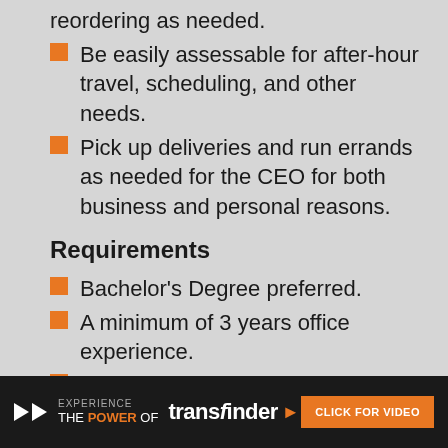reordering as needed.
Be easily assessable for after-hour travel, scheduling, and other needs.
Pick up deliveries and run errands as needed for the CEO for both business and personal reasons.
Requirements
Bachelor's Degree preferred.
A minimum of 3 years office experience.
Must be proficient with Microsoft Office, Word, and Excel.
Highly organized and self-motivated.
Excellent verbal and written communication skills.
Detail-oriented and good time management skills; ability to prioritize work.
Demonstrat[ed ability to] anticipate needs and exercise...
EXPERIENCE THE POWER OF transfinder ► CLICK FOR VIDEO